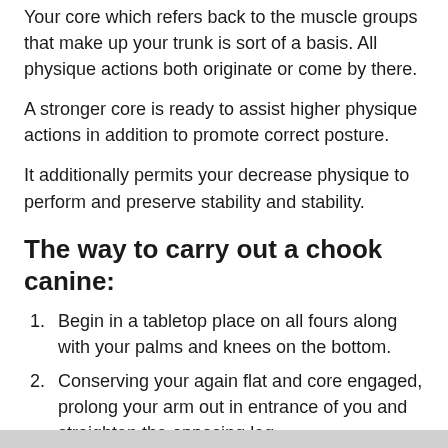Your core which refers back to the muscle groups that make up your trunk is sort of a basis. All physique actions both originate or come by there.
A stronger core is ready to assist higher physique actions in addition to promote correct posture.
It additionally permits your decrease physique to perform and preserve stability and stability.
The way to carry out a chook canine:
Begin in a tabletop place on all fours along with your palms and knees on the bottom.
Conserving your again flat and core engaged, prolong your arm out in entrance of you and straighten the opposing leg.
Slowly deliver them again to the beginning place and